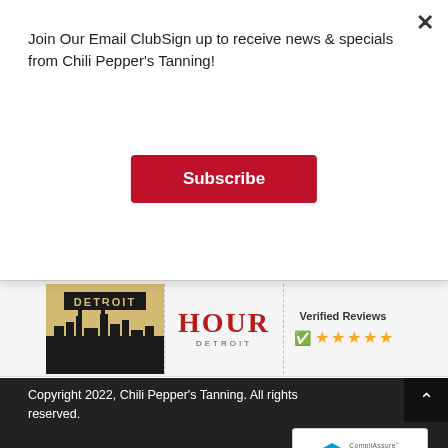Join Our Email ClubSign up to receive news & specials from Chili Pepper's Tanning!
Subscribe
[Figure (other): Detroit city skyline banner with black silhouette skyline on gold/tan background with DETROIT text]
[Figure (other): HOUR DETROIT logo in red serif font]
[Figure (other): Verified Reviews badge with green checkmark and five gold stars]
Copyright 2022, Chili Pepper's Tanning. All rights reserved.
[Figure (other): CompliAssure Secured badge - Click to Verify, powered by Aperia]